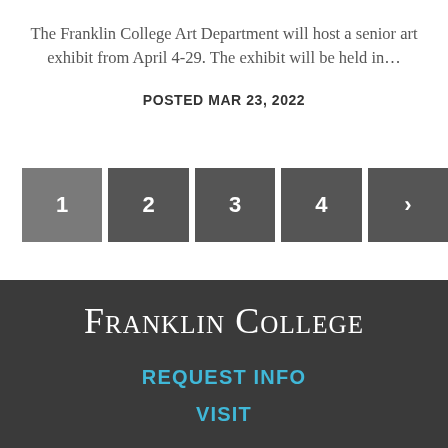The Franklin College Art Department will host a senior art exhibit from April 4-29. The exhibit will be held in…
POSTED MAR 23, 2022
[Figure (other): Pagination controls with buttons numbered 1, 2, 3, 4 and a next arrow (>)]
FRANKLIN COLLEGE
REQUEST INFO
VISIT